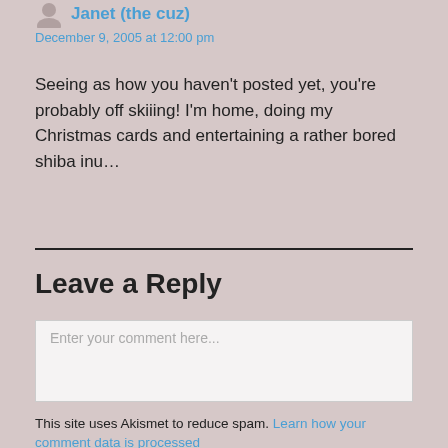Janet (the cuz)
December 9, 2005 at 12:00 pm
Seeing as how you haven't posted yet, you're probably off skiiing! I'm home, doing my Christmas cards and entertaining a rather bored shiba inu...
Leave a Reply
Enter your comment here...
This site uses Akismet to reduce spam. Learn how your comment data is processed